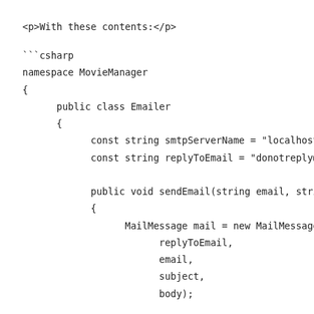<p>With these contents:</p>
```csharp
namespace MovieManager
{
    public class Emailer
    {
        const string smtpServerName = "localhost"
        const string replyToEmail = "donotreply@m

        public void sendEmail(string email, strin
        {
            MailMessage mail = new MailMessage(
                replyToEmail,
                email,
                subject,
                body);

            mail.IsBodyHtml = true;